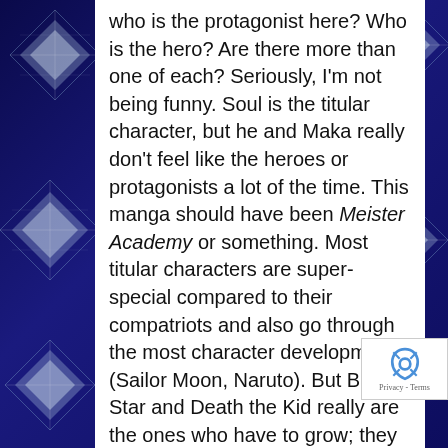who is the protagonist here? Who is the hero? Are there more than one of each? Seriously, I'm not being funny. Soul is the titular character, but he and Maka really don't feel like the heroes or protagonists a lot of the time. This manga should have been Meister Academy or something. Most titular characters are super-special compared to their compatriots and also go through the most character development (Sailor Moon, Naruto). But Black Star and Death the Kid really are the ones who have to grow; they start off pretty unreliable despite their physical strength. Stein has to go through much internal struggles, and I think Medusa is the most interesting character in the manga. I mean, Soul and Maka are nice, but Soul Eater doesn't feel like it's their story. They aren't even around for large chunks of the manga.

On a side note, Maka reminds me of Shizuku